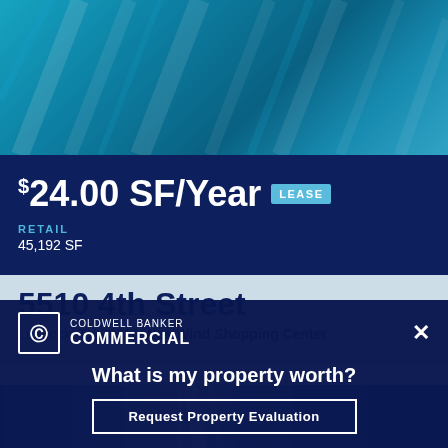[Figure (photo): Building exterior with teal and blue tones, architectural lines visible]
$24.00 SF/Year LEASE
RETAIL
45,192 SF
5510 4th Street
Lubbock, TX 79416 WestWind Shopping Center
[Figure (photo): Partial building exterior photo strip with blue tones]
[Figure (logo): Coldwell Banker Commercial logo with CBC icon]
What is my property worth?
Request Property Evaluation